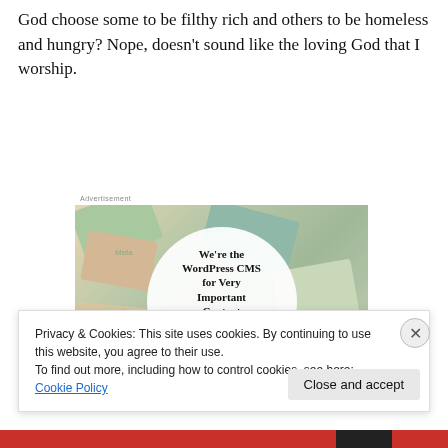God choose some to be filthy rich and others to be homeless and hungry? Nope, doesn't sound like the loving God that I worship.
[Figure (screenshot): Advertisement for WordPress VIP CMS showing a collage of colorful cards with brand logos (Meta, Facebook, Capgemini, Salesforce, etc.) in the background, with a white circle overlay containing the text 'We're the WordPress CMS for Very Important Content' with a WordPress VIP logo and a 'Learn more' button.]
Privacy & Cookies: This site uses cookies. By continuing to use this website, you agree to their use.
To find out more, including how to control cookies, see here: Cookie Policy
Close and accept